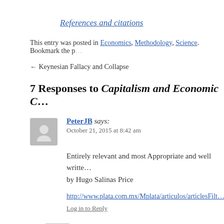References and citations
This entry was posted in Economics, Methodology, Science. Bookmark the p...
← Keynesian Fallacy and Collapse
7 Responses to Capitalism and Economic C...
PeterJB says: October 21, 2015 at 8:42 am
Entirely relevant and most Appropriate and well written by Hugo Salinas Price
http://www.plata.com.mx/Mplata/articulos/articlesFilt...
Log in to Reply
admin says: October 21, 2015 at 12:29 pm